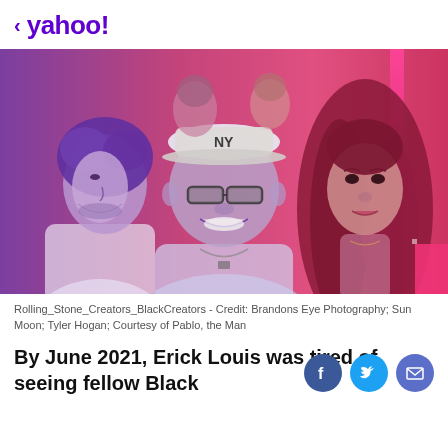< yahoo!
[Figure (photo): Composite image of three Black creators on a pink/purple gradient background. Center: a smiling person wearing a NY Yankees cap and glasses. Left: a young man in a white shirt looking upward. Right: a young woman with long curly hair looking forward.]
Rolling_Stone_Creators_BlackCreators - Credit: Brandons Eye Photography; Sun Moon; Tyler Hogan; Courtesy of Pablo, the Man
By June 2021, Erick Louis was tired of seeing fellow Black